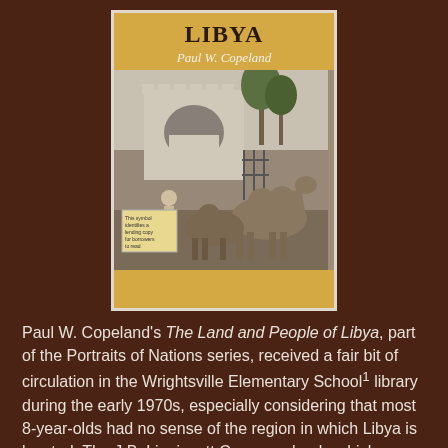[Figure (photo): Book cover of 'The Land and People of Libya' by Paul W. Copeland, showing title in bold on golden/orange background with author name in italic, and a black-and-white photograph of camels near a building with palm trees.]
Paul W. Copeland's The Land and People of Libya, part of the Portraits of Nations series, received a fair bit of circulation in the Wrightsville Elementary School¹ library during the early 1970s, especially considering that most 8-year-olds had no sense of the region in which Libya is located. The J.B. Lippincott Company book, which was published in 1967, entered circulation at Wrightsville in November 1968.
The card pocket and circulation card, shown below in all their ephemeral glory, indicate that the book was first